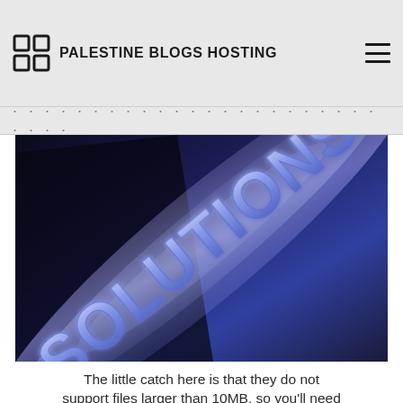PALESTINE BLOGS HOSTING
[Figure (illustration): 3D rendered image of the word 'SOLUTIONS' in large blue glowing letters on a dark blue metallic diagonal background with light streaks]
The little catch here is that they do not support files larger than 10MB, so you'll need